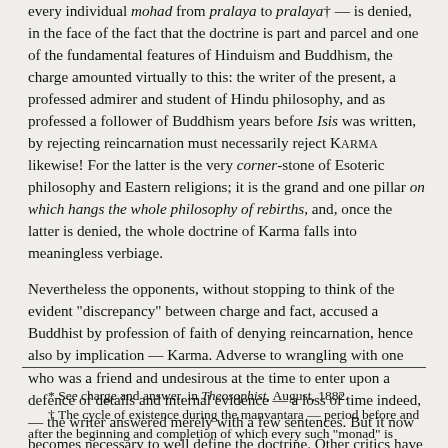every individual mohad from pralaya to pralaya† — is denied, in the face of the fact that the doctrine is part and parcel and one of the fundamental features of Hinduism and Buddhism, the charge amounted virtually to this: the writer of the present, a professed admirer and student of Hindu philosophy, and as professed a follower of Buddhism years before Isis was written, by rejecting reincarnation must necessarily reject KARMA likewise! For the latter is the very corner-stone of Esoteric philosophy and Eastern religions; it is the grand and one pillar on which hangs the whole philosophy of rebirths, and, once the latter is denied, the whole doctrine of Karma falls into meaningless verbiage.
Nevertheless the opponents, without stopping to think of the evident "discrepancy" between charge and fact, accused a Buddhist by profession of faith of denying reincarnation, hence also by implication — Karma. Adverse to wrangling with one who was a friend and undesirous at the time to enter upon a defence of details and internal evidence — a loss of time indeed, — the writer answered merely with a few sentences. But it now becomes necessary to well define the doctrine. Other critics have taken
* See charge and answer, in Theosophist, August, 1882.
† The cycle of existence during the manvantara — period before and after the beginning and completion of which every such "monad" is